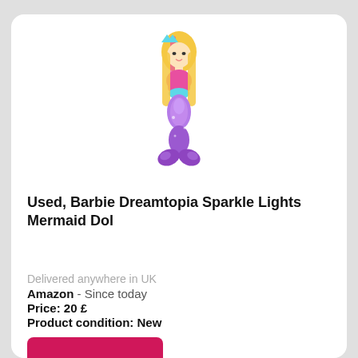[Figure (photo): A Barbie Dreamtopia Sparkle Lights Mermaid doll with blonde and pink hair, wearing a pink top and purple/lavender mermaid tail with sparkle details.]
Used, Barbie Dreamtopia Sparkle Lights Mermaid Dol
Delivered anywhere in UK
Amazon  - Since today
Price: 20 £
Product condition: New